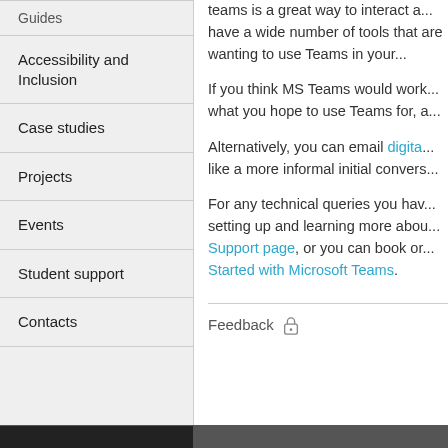Guides
Accessibility and Inclusion
Case studies
Projects
Events
Student support
Contacts
teams is a great way to interact a... have a wide number of tools that ... are wanting to use Teams in your...
If you think MS Teams would work... what you hope to use Teams for, a...
Alternatively, you can email digita... like a more informal initial convers...
For any technical queries you hav... setting up and learning more abou... Support page, or you can book or... Started with Microsoft Teams.
Feedback